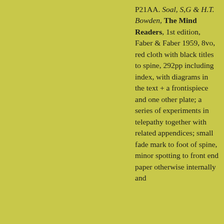P21AA. Soal, S,G & H.T. Bowden, The Mind Readers, 1st edition, Faber & Faber 1959, 8vo, red cloth with black titles to spine, 292pp including index, with diagrams in the text + a frontispiece and one other plate; a series of experiments in telepathy together with related appendices; small fade mark to foot of spine, minor spotting to front end paper otherwise internally and